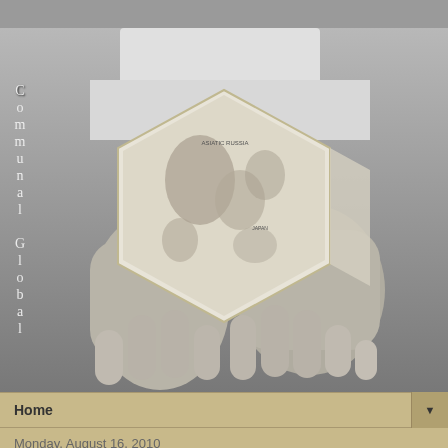[Figure (photo): Black and white photograph of hands holding a hexagonal box with a world map printed on it. Vertical text on the left side reads 'Communal Global'.]
Home
Monday, August 16, 2010
8.17.2010 TUESDAYS AROUND THE WORLD